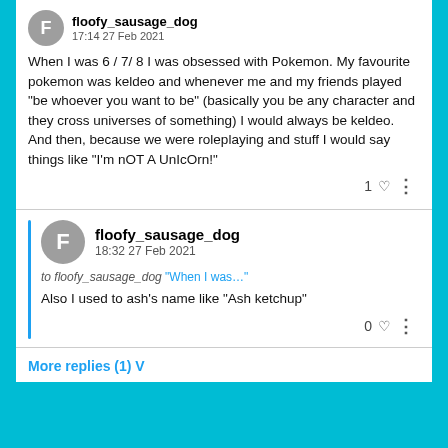floofy_sausage_dog
17:14 27 Feb 2021
When I was 6 / 7/ 8 I was obsessed with Pokemon. My favourite pokemon was keldeo and whenever me and my friends played “be whoever you want to be” (basically you be any character and they cross universes of something) I would always be keldeo. And then, because we were roleplaying and stuff I would say things like “I’m nOT A UnIcOrn!”
1 ♥
floofy_sausage_dog
18:32 27 Feb 2021
to floofy_sausage_dog “When I was…”
Also I used to ash’s name like “Ash ketchup”
0 ♥
More replies (1) V